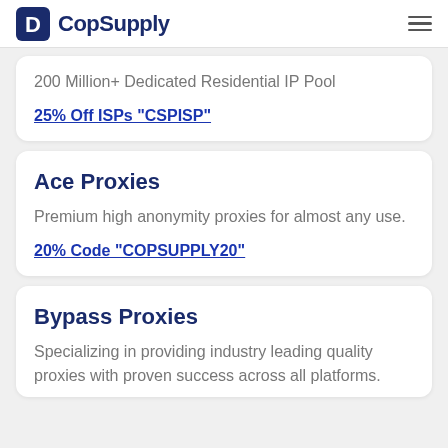CopSupply
200 Million+ Dedicated Residential IP Pool
25% Off ISPs “CSPISP”
Ace Proxies
Premium high anonymity proxies for almost any use.
20% Code “COPSUPPLY20”
Bypass Proxies
Specializing in providing industry leading quality proxies with proven success across all platforms.